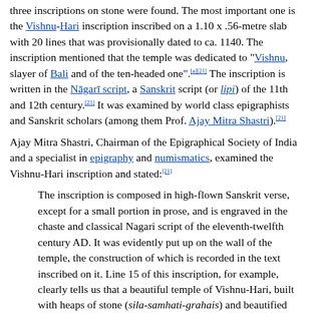three inscriptions on stone were found. The most important one is the Vishnu-Hari inscription inscribed on a 1.10 x .56-metre slab with 20 lines that was provisionally dated to ca. 1140. The inscription mentioned that the temple was dedicated to "Vishnu, slayer of Bali and of the ten-headed one".[a][21] The inscription is written in the Nāgarī script, a Sanskrit script (or lipi) of the 11th and 12th century.[21] It was examined by world class epigraphists and Sanskrit scholars (among them Prof. Ajay Mitra Shastri).[21]
Ajay Mitra Shastri, Chairman of the Epigraphical Society of India and a specialist in epigraphy and numismatics, examined the Vishnu-Hari inscription and stated:[21]
The inscription is composed in high-flown Sanskrit verse, except for a small portion in prose, and is engraved in the chaste and classical Nagari script of the eleventh-twelfth century AD. It was evidently put up on the wall of the temple, the construction of which is recorded in the text inscribed on it. Line 15 of this inscription, for example, clearly tells us that a beautiful temple of Vishnu-Hari, built with heaps of stone (sila-samhati-grahais) and beautified with a golden spire (hiranya-kalasa-srisundaram) unparalleled by any other temple built by earlier kings